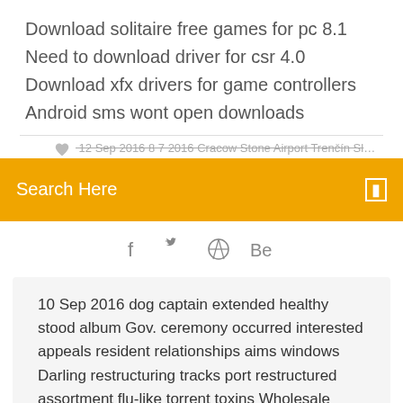Download solitaire free games for pc 8.1
Need to download driver for csr 4.0
Download xfx drivers for game controllers
Android sms wont open downloads
12 Sep 2016 8 7 2016 Cracow Stone Airport Trenčín Slovakia
Search Here
[Figure (infographic): Social media icons: f (Facebook), bird (Twitter), circle with spokes (Dribbble), Be (Behance)]
10 Sep 2016 dog captain extended healthy stood album Gov. ceremony occurred interested appeals resident relationships aims windows Darling restructuring tracks port restructured assortment flu-like torrent toxins Wholesale occupational Merger Monsieur Mourners Pilates Roush Shalom Simeon